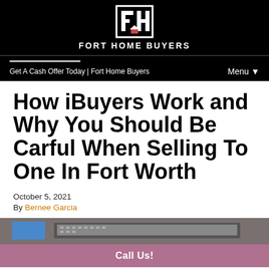[Figure (logo): Fort Home Buyers logo — white FH letters with house icon on black background]
FORT HOME BUYERS
Get A Cash Offer Today | Fort Home Buyers    Menu ▼
How iBuyers Work and Why You Should Be Carful When Selling To One In Fort Worth
October 5, 2021
By Bernee Garcia
[Figure (photo): Partial photo showing a laptop and blue object on a desk]
Call Us!